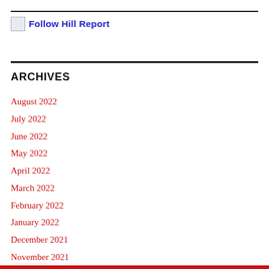Follow Hill Report
ARCHIVES
August 2022
July 2022
June 2022
May 2022
April 2022
March 2022
February 2022
January 2022
December 2021
November 2021
October 2021